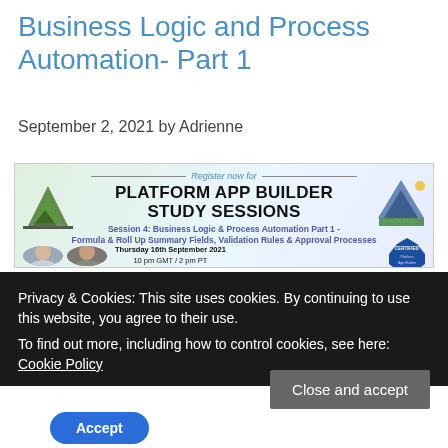Business Logic and Process Automation- Part 1
September 2, 2021 by Adrienne
[Figure (infographic): Register now for Platform App Builder Study Sessions banner. Shows mountain logo on left, pyramid/solar panel logo on right. Session 4: Business Logic & Process Automation Part 1 - Formula & Roll Up Summary Fields, Validation Rules & Approval Processes. Thursday 16th September 2021, 10 pm GMT / 2 pm PT. Friday 17th September 2021, 7 am AEST / 9 am NZT. Certified Platform App Builder badge. Two presenter photos.]
Privacy & Cookies: This site uses cookies. By continuing to use this website, you agree to their use.
To find out more, including how to control cookies, see here: Cookie Policy
Close and accept
Accept